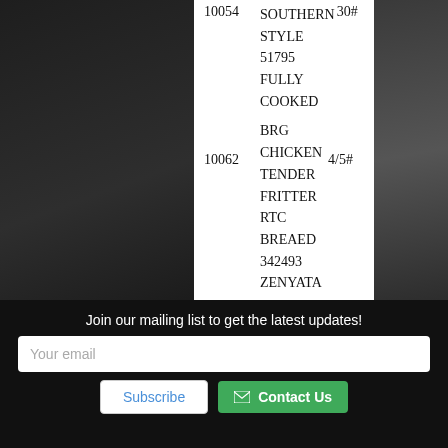| Code | Description | Qty |
| --- | --- | --- |
| 10054 | SOUTHERN STYLE
51795 FULLY COOKED | 30# |
| 10062 | BRG CHICKEN
TENDER FRITTER
RTC BREAED 342493
ZENYATA | 4/5# |
| 10063 | BRG CHICKEN
TENDER GRILL
... | 4/5# |
Join our mailing list to get the latest updates!